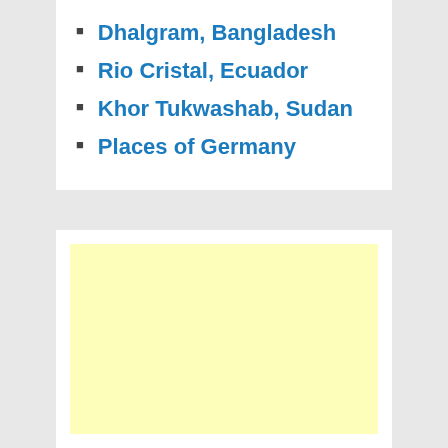Dhalgram, Bangladesh
Rio Cristal, Ecuador
Khor Tukwashab, Sudan
Places of Germany
[Figure (other): Yellow advertisement placeholder box]